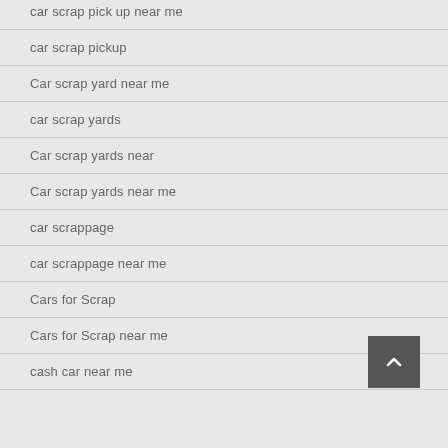car scrap pick up near me
car scrap pickup
Car scrap yard near me
car scrap yards
Car scrap yards near
Car scrap yards near me
car scrappage
car scrappage near me
Cars for Scrap
Cars for Scrap near me
cash car near me